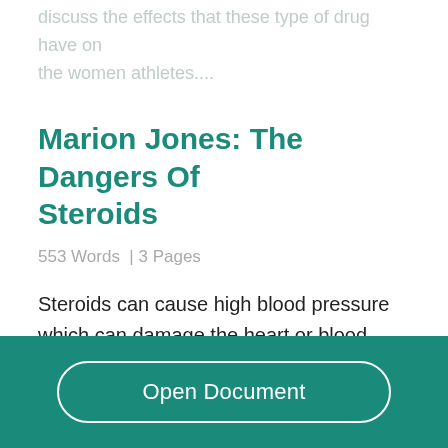discuss the effects that these type of drug have on the women athletes....
Marion Jones: The Dangers Of Steroids
553 Words  | 3 Pages
Steroids can cause high blood pressure which can damage the heart or blood vessels. Liver damage, it can effect your growth, reduce your sperm count,
Open Document